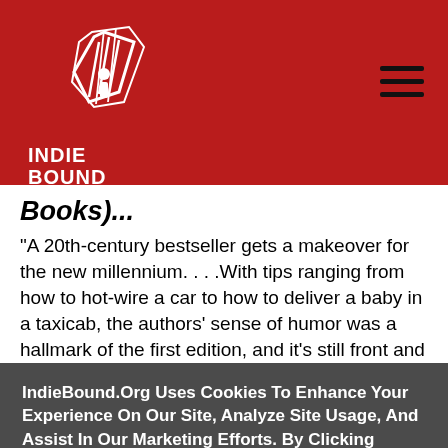[Figure (logo): IndieBound logo with white feather/book design on dark red background, text INDIE BOUND below]
Books)...
"A 20th-century bestseller gets a makeover for the new millennium. . . .With tips ranging from how to hot-wire a car to how to deliver a baby in a taxicab, the authors' sense of humor was a hallmark of the first edition, and it's still front and center. Covering an
IndieBound.Org Uses Cookies To Enhance Your Experience On Our Site, Analyze Site Usage, And Assist In Our Marketing Efforts. By Clicking Accept, You Agree To The Storing Of Cookies On Your Device. View Our Cookie Policy.
Give me more info
Accept all Cookies